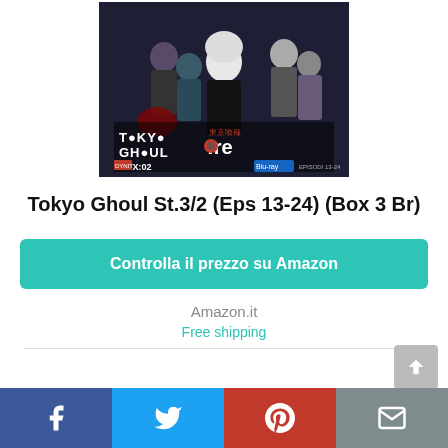[Figure (photo): Tokyo Ghoul :re Box 02 Blu-ray anime cover art showing multiple anime characters including a white-haired protagonist, with the title 'TOKYO GHOUL:re BOX:02 EPISODI 13-24' displayed on the cover]
Tokyo Ghoul St.3/2 (Eps 13-24) (Box 3 Br)
Controlla il prezzo su Amazon
Amazon.it
Free shipping
[Figure (infographic): Social media share bar at bottom with Facebook, Twitter, Pinterest, and email icons]